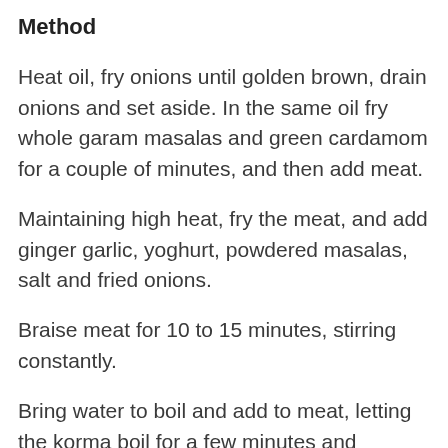Method
Heat oil, fry onions until golden brown, drain onions and set aside. In the same oil fry whole garam masalas and green cardamom for a couple of minutes, and then add meat.
Maintaining high heat, fry the meat, and add ginger garlic, yoghurt, powdered masalas, salt and fried onions.
Braise meat for 10 to 15 minutes, stirring constantly.
Bring water to boil and add to meat, letting the korma boil for a few minutes and lowering the heat to medium.